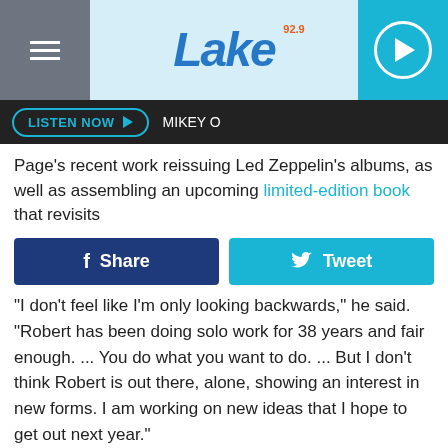92.9 The Lake — hamburger menu, logo, play button
LISTEN NOW ▶   MIKEY O
Page's recent work reissuing Led Zeppelin's albums, as well as assembling an upcoming limited-edition book that revisits
[Figure (other): Facebook Share and Twitter Tweet social sharing buttons]
"I don't feel like I'm only looking backwards," he said. "Robert has been doing solo work for 38 years and fair enough. ... You do what you want to do. ... But I don't think Robert is out there, alone, showing an interest in new forms. I am working on new ideas that I hope to get out next year."
Due to their respective schedules, Page said, the two haven't seen each other in some time. But he added that he wasn't going to use the interview as an opportunity to get in touch with Plant: "The one thing I will not do is communicate with